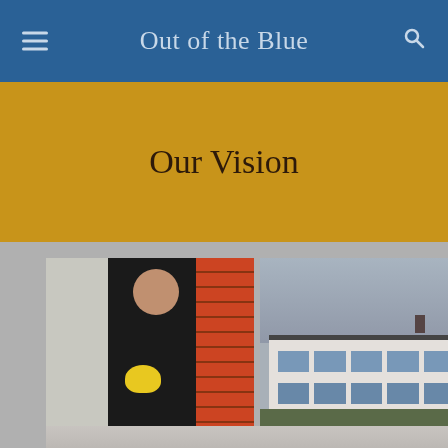Out of the Blue
Our Vision
[Figure (photo): Photo of a man in a black sweater holding a yellow rubber duck, standing in front of bookshelves]
[Figure (photo): Photo of a white industrial or office building exterior with trees in the background]
[Figure (photo): Partial photo at the bottom showing a person, cropped]